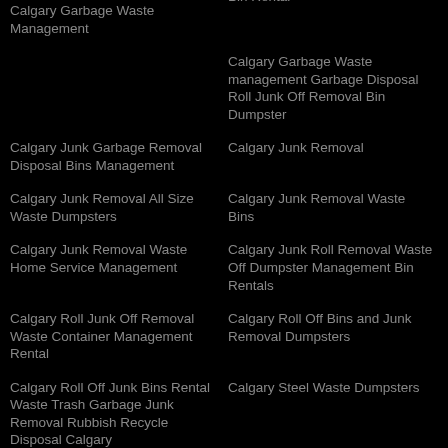Bin Rental
Calgary Garbage Waste Management
Calgary Garbage Waste management Garbage Disposal Roll Junk Off Removal Bin Dumpster
Calgary Junk Garbage Removal Disposal Bins Management
Calgary Junk Removal
Calgary Junk Removal All Size Waste Dumpsters
Calgary Junk Removal Waste Bins
Calgary Junk Removal Waste Home Service Management
Calgary Junk Roll Removal Waste Off Dumpster Management Bin Rentals
Calgary Roll Junk Off Removal Waste Container Management Rental
Calgary Roll Off Bins and Junk Removal Dumpsters
Calgary Roll Off Junk Bins Rental Waste Trash Garbage Junk Removal Rubbish Recycle Disposal Calgary
Calgary Steel Waste Dumpsters
Calgary Waste Containers